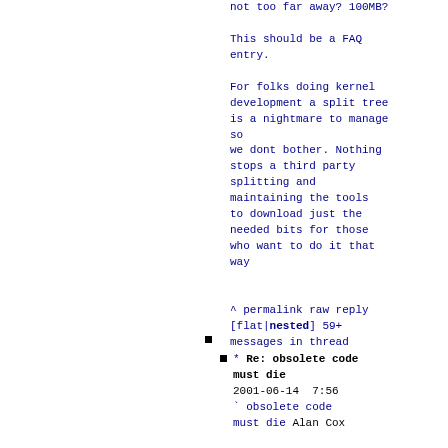not too far away? 100MB?
This should be a FAQ entry.
For folks doing kernel development a split tree is a nightmare to manage so
we dont bother. Nothing stops a third party splitting and maintaining the tools to download just the needed bits for those who want to do it that way
^ permalink raw reply [flat|nested] 59+ messages in thread
* Re: obsolete code must die
2001-06-14  7:56
` obsolete code must die Alan Cox